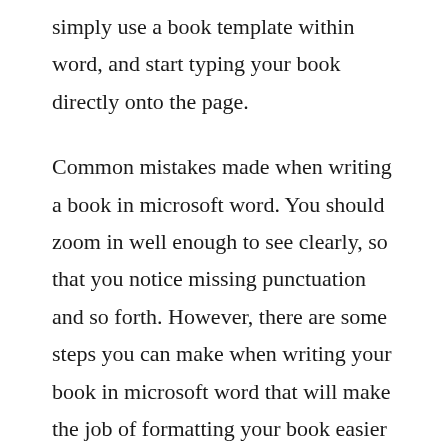simply use a book template within word, and start typing your book directly onto the page.
Common mistakes made when writing a book in microsoft word. You should zoom in well enough to see clearly, so that you notice missing punctuation and so forth. However, there are some steps you can make when writing your book in microsoft word that will make the job of formatting your book easier and help prevent errors in the book formatting process. Getting started with microsoft word styles for book layout.